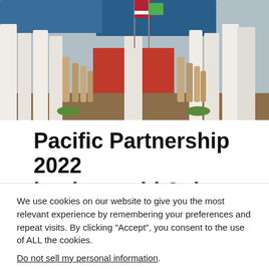[Figure (photo): Military personnel in white uniforms standing along a red carpet lined with decorative bollards, with flags visible in the background during a ceremony.]
Pacific Partnership 2022 begins amid Solomon Islands foreign...
We use cookies on our website to give you the most relevant experience by remembering your preferences and repeat visits. By clicking “Accept”, you consent to the use of ALL the cookies.
Do not sell my personal information.